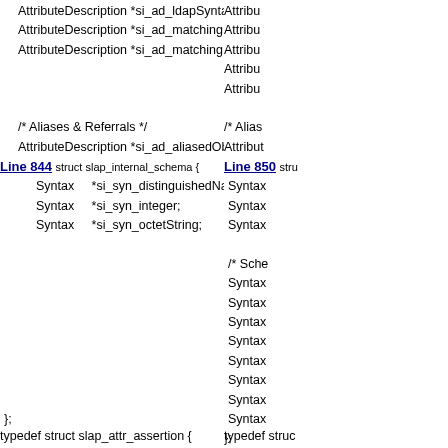AttributeDescription *si_ad_ldapSyntaxes;
AttributeDescription *si_ad_matchingRules;
AttributeDescription *si_ad_matchingRuleUse;
/* Aliases & Referrals */
AttributeDescription *si_ad_aliasedObjectName;
Line 844  struct slap_internal_schema {
    Syntax  *si_syn_distinguishedName;
    Syntax  *si_syn_integer;
    Syntax  *si_syn_octetString;
};
Line 850  stru...
/* Sche...
    Syntax
    Syntax
    Syntax
    Syntax
    Syntax
    Syntax
    Syntax
    Syntax
};
typedef struct slap_attr_assertion {
typedef struc...